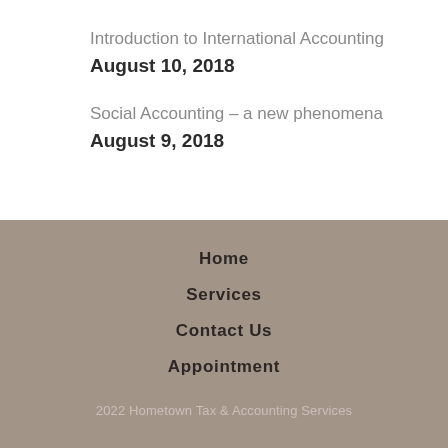Introduction to International Accounting
August 10, 2018
Social Accounting – a new phenomena
August 9, 2018
Home
Services
Contact Us
Appointment
2022 Hometown Tax & Accounting Services